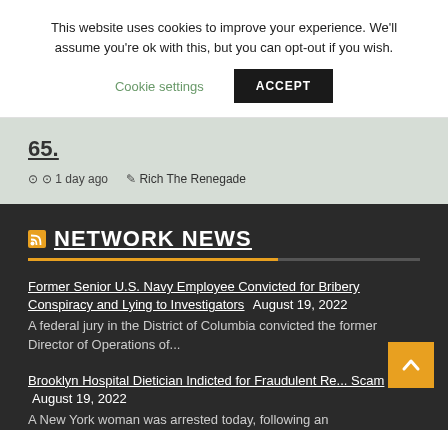This website uses cookies to improve your experience. We'll assume you're ok with this, but you can opt-out if you wish.
Cookie settings  ACCEPT
65.
1 day ago  Rich The Renegade
NETWORK NEWS
Former Senior U.S. Navy Employee Convicted for Bribery Conspiracy and Lying to Investigators August 19, 2022 A federal jury in the District of Columbia convicted the former Director of Operations of...
Brooklyn Hospital Dietician Indicted for Fraudulent Re... Scam August 19, 2022 A New York woman was arrested today, following an